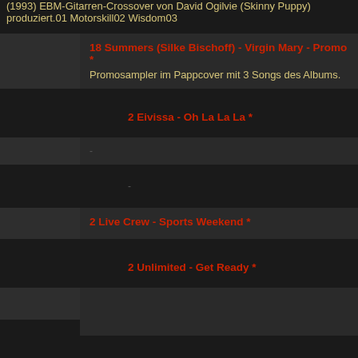(1993) EBM-Gitarren-Crossover von David Ogilvie (Skinny Puppy) produziert.01 Motorskill02 Wisdom03
18 Summers (Silke Bischoff) - Virgin Mary - Promo * — Promosampler im Pappcover mit 3 Songs des Albums.
2 Eivissa - Oh La La La *
-
-
2 Live Crew - Sports Weekend *
2 Unlimited - Get Ready *